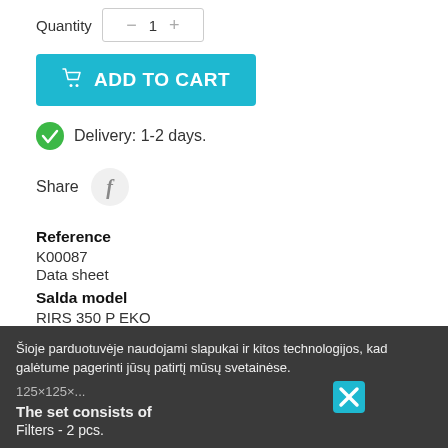Quantity  1
ADD TO CART
Delivery: 1-2 days.
Share
Reference
K00087
Data sheet
Salda model
RIRS 350 P EKO
Dimensions (mm)
Šioje parduotuvėje naudojami slapukai ir kitos technologijos, kad galėtume pagerinti jūsų patirtį mūsų svetainėse.
The set consists of
Filters - 2 pcs.